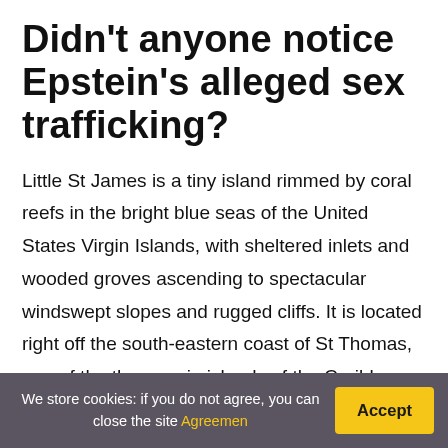Didn't anyone notice Epstein's alleged sex trafficking?
Little St James is a tiny island rimmed by coral reefs in the bright blue seas of the United States Virgin Islands, with sheltered inlets and wooded groves ascending to spectacular windswept slopes and rugged cliffs. It is located right off the south-eastern coast of St Thomas, one of the three main islands of the Caribbean archipelago. The Virgins were bought from Denmark by the United States government at the height of the First World War in order to prevent
We store cookies: if you do not agree, you can close the site Agreemen  Accept